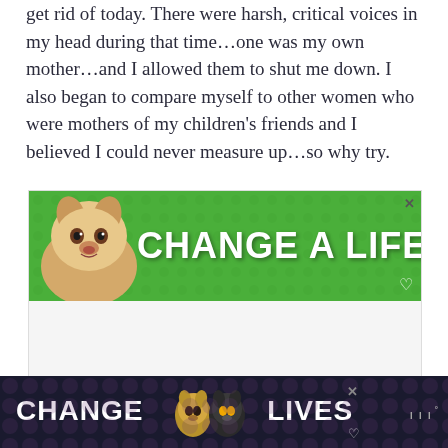get rid of today.  There were harsh, critical voices in my head during that time…one was my own mother…and I allowed them to shut me down.  I also began to compare myself to other women who were mothers of my children's friends and I believed I could never measure up…so why try.
[Figure (other): Green advertisement banner with a dog photo on the left and bold white text 'CHANGE A LIFE' on the right, with a close (X) button and heart icon.]
[Figure (other): Dark purple/black advertisement banner at the bottom with two cat faces in the center and bold white text 'CHANGE LIVES', with a close (X) button and small logo on the right.]